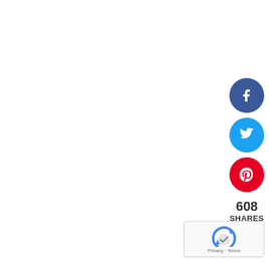[Figure (infographic): Social media share sidebar with Facebook (blue circle with f icon), Twitter (cyan circle with bird icon), Pinterest (red circle with p icon), share count 608 SHARES, and a reCAPTCHA widget in the bottom right corner]
608
SHARES